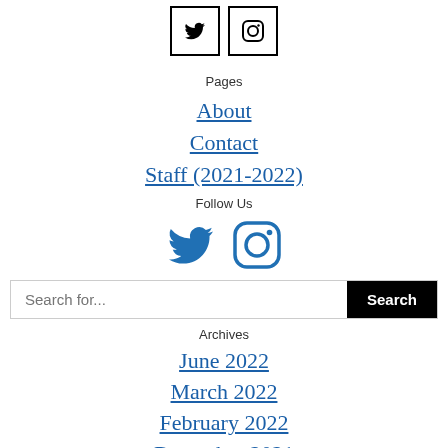[Figure (other): Two social media icon buttons (Twitter bird and Instagram camera) with black borders, small size, centered at top of page]
Pages
About
Contact
Staff (2021-2022)
Follow Us
[Figure (other): Two social media icons: Twitter bird and Instagram camera, blue colored, larger size, centered]
Search for...
Archives
June 2022
March 2022
February 2022
December 2021